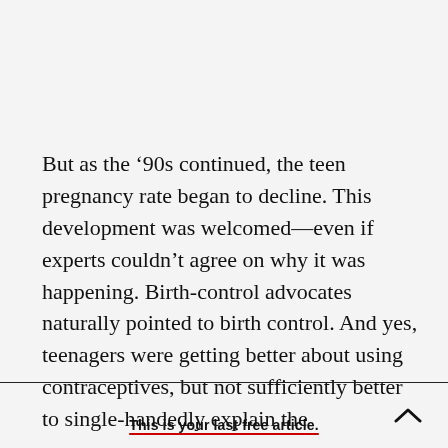But as the ’90s continued, the teen pregnancy rate began to decline. This development was welcomed—even if experts couldn’t agree on why it was happening. Birth-control advocates naturally pointed to birth control. And yes, teenagers were getting better about using contraceptives, but not sufficiently better to single-handedly explain the
This is your last free article.